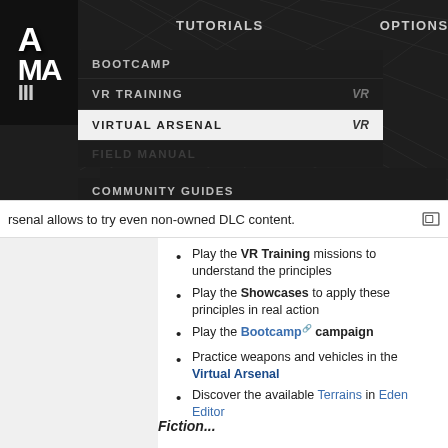[Figure (screenshot): ArmA game menu screenshot showing TUTORIALS and OPTIONS nav, dropdown with BOOTCAMP, VR TRAINING, VIRTUAL ARSENAL (highlighted), FIELD MANUAL, COMMUNITY GUIDES, and tooltip: 'View and try out different weapons, equipment and vehicles.']
rsenal allows to try even non-owned DLC content.
Play the VR Training missions to understand the principles
Play the Showcases to apply these principles in real action
Play the Bootcamp campaign
Practice weapons and vehicles in the Virtual Arsenal
Discover the available Terrains in Eden Editor
Fiction...